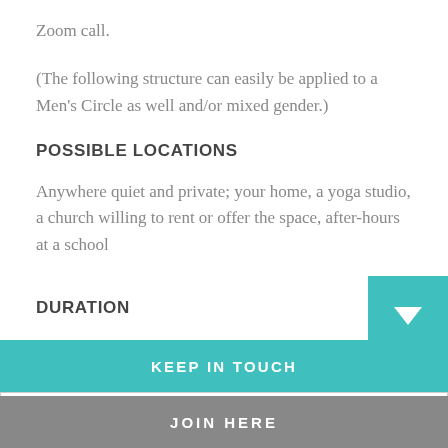Zoom call.
(The following structure can easily be applied to a Men's Circle as well and/or mixed gender.)
POSSIBLE LOCATIONS
Anywhere quiet and private; your home, a yoga studio, a church willing to rent or offer the space, after-hours at a school
DURATION
KEEP IN TOUCH
Email
JOIN HERE